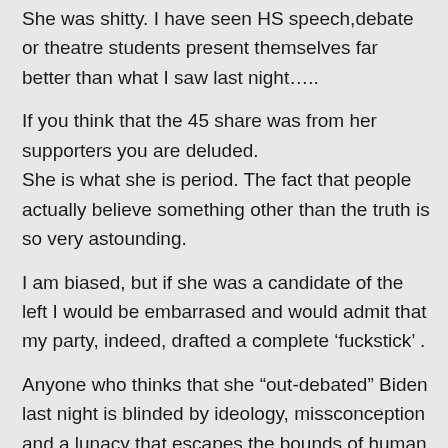She was shitty. I have seen HS speech,debate or theatre students present themselves far better than what I saw last night.....
If you think that the 45 share was from her supporters you are deluded.
She is what she is period. The fact that people actually believe something other than the truth is so very astounding.
I am biased, but if she was a candidate of the left I would be embarrased and would admit that my party, indeed, drafted a complete ‘fuckstick’ .
Anyone who thinks that she “out-debated” Biden last night is blinded by ideology, missconception and a lunacy that escapes the bounds of human reality.